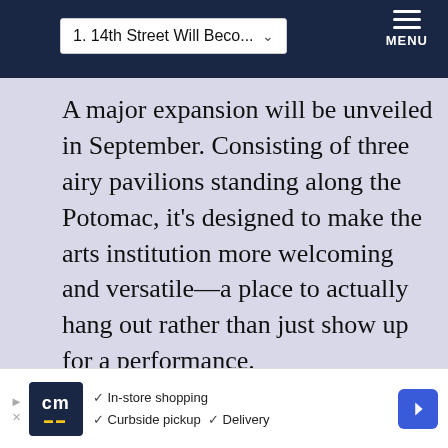1. 14th Street Will Beco... ▾  MENU
A major expansion will be unveiled in September. Consisting of three airy pavilions standing along the Potomac, it's designed to make the arts institution more welcoming and versatile—a place to actually hang out rather than just show up for a performance.
Rising musicians
Following the national success of
[Figure (screenshot): Advertisement banner showing CM logo, In-store shopping, Curbside pickup, Delivery options with navigation arrow]